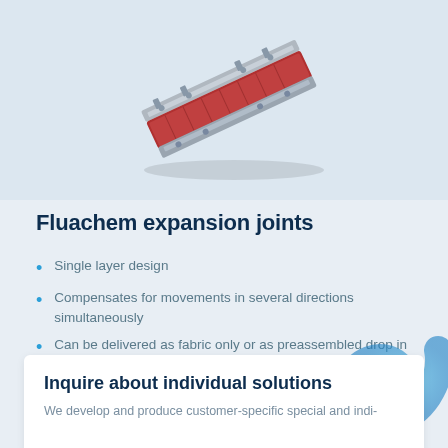[Figure (photo): A red and silver industrial expansion joint component shown at an angle on a light blue background]
Fluachem expansion joints
Single layer design
Compensates for movements in several directions simultaneously
Can be delivered as fabric only or as preassembled drop in unit
For dry and wet condition
Custom made to fit actual working conditions
Inquire about individual solutions
We develop and produce customer-specific special and indi-